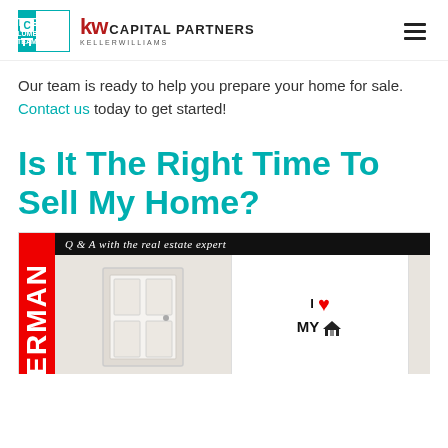The Columbus Team | KW Capital Partners Keller Williams
Our team is ready to help you prepare your home for sale. Contact us today to get started!
Is It The Right Time To Sell My Home?
[Figure (photo): Promotional image with red sidebar text 'ERMAN', black bar reading 'Q & A with the real estate expert', a white door on the left and 'I Love My Home' graphic on the right]